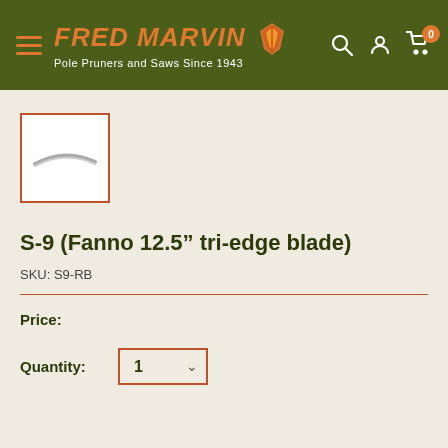Fred Marvin – Pole Pruners and Saws Since 1943
[Figure (photo): Small thumbnail image of a curved saw blade (S-9 Fanno 12.5 inch tri-edge blade), shown on white background with orange border]
S-9 (Fanno 12.5” tri-edge blade)
SKU: S9-RB
Price:
Quantity: 1